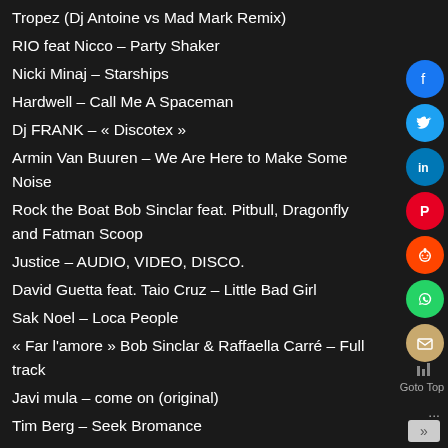Tropez (Dj Antoine vs Mad Mark Remix)
RIO feat Nicco – Party Shaker
Nicki Minaj – Starships
Hardwell – Call Me A Spaceman
Dj FRANK – « Discotex »
Armin Van Buuren – We Are Here to Make Some Noise
Rock the Boat Bob Sinclar feat. Pitbull, Dragonfly and Fatman Scoop
Justice – AUDIO, VIDEO, DISCO.
David Guetta feat. Taio Cruz – Little Bad Girl
Sak Noel – Loca People
« Far l'amore » Bob Sinclar & Raffaella Carré – Full track
Javi mula – come on (original)
Tim Berg – Seek Bromance
Martin Solveig & Dragonette « Hello » (Smash Episode 1)
Duck Sauce « Barbra Streisand » Official Music Video
Public Enemy vs Benny Benassi – Bring The Noise